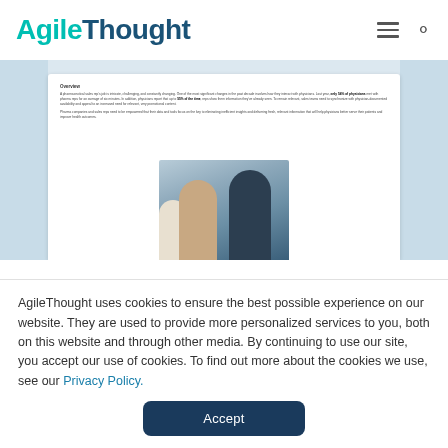AgileThought
[Figure (screenshot): A preview of a document page with text sections and a photo of people in a professional setting]
AgileThought uses cookies to ensure the best possible experience on our website. They are used to provide more personalized services to you, both on this website and through other media. By continuing to use this site, you accept our use of cookies. To find out more about the cookies we use, see our Privacy Policy.
Accept